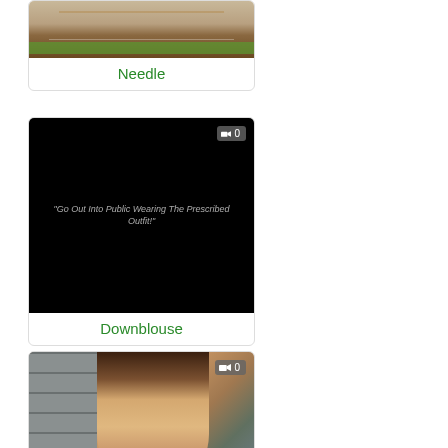[Figure (screenshot): Partial video thumbnail card for 'Needle' showing top portion cut off at page top]
Needle
[Figure (screenshot): Video thumbnail showing black screen with text 'Go Out Into Public Wearing The Prescribed Outfit!' with badge showing camera icon and 0]
Downblouse
[Figure (photo): Photo of Asian woman with brown hair, face close-up, azbotpo watermark visible, with badge showing camera icon and 0]
Futanari